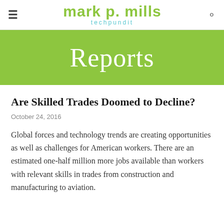Mark P. Mills TechPundit
Reports
Are Skilled Trades Doomed to Decline?
October 24, 2016
Global forces and technology trends are creating opportunities as well as challenges for American workers. There are an estimated one-half million more jobs available than workers with relevant skills in trades from construction and manufacturing to aviation.